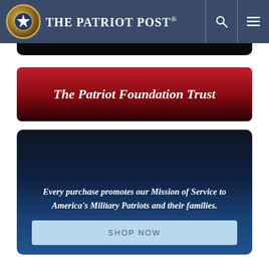The Patriot Post
[Figure (screenshot): Partial black image strip (website screenshot partial content)]
The Patriot Foundation Trust
[Figure (infographic): Dark blue card with text: Every purchase promotes our Mission of Service to America's Military Patriots and their families. With a SHOP NOW button.]
THE FOUNDATION